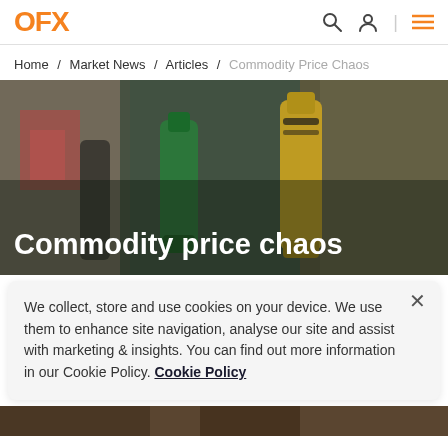OFX
Home / Market News / Articles / Commodity Price Chaos
[Figure (photo): Photo of fuel pump nozzles (green and yellow) at a petrol station, with blurred background. Overlaid title text reads: Commodity price chaos]
Commodity price chaos
We collect, store and use cookies on your device. We use them to enhance site navigation, analyse our site and assist with marketing & insights. You can find out more information in our Cookie Policy. Cookie Policy